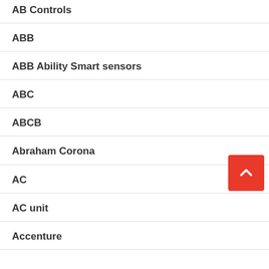AB Controls
ABB
ABB Ability Smart sensors
ABC
ABCB
Abraham Corona
AC
AC unit
Accenture